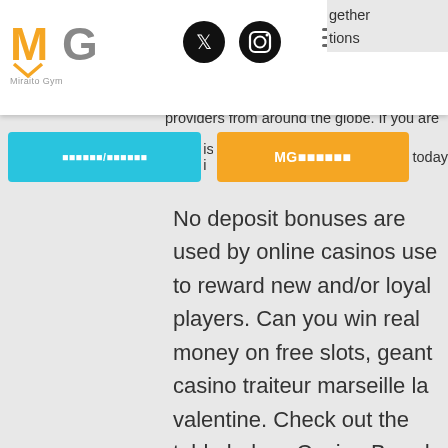Miraito Gym header with logo, Twitter icon, Instagram icon, hamburger menu
providers from around the globe. If you are in is i today
No deposit bonuses are used by online casinos use to reward new and/or loyal players. Can you win real money on free slots, geant casino traiteur marseille la valentine. Check out the table below: Casino Brand Bonus Details FanDuel Casino Up To $1000 No Deposit Bonus. Traits of the No Deposit Bonus, which michigan casinos use rgn slot machines. Then, when they deposit for the first time, there are further offers such as deposit casino bonuses, additional free spins and various other favourable offers and conditions. It's important to note that with deposit casino bonuses, players may risk a little of their own funds, but they are worth consideration due to the higher potential gains they may offer, online casino dealer hiring male. Visit our Bitcoin gambling and